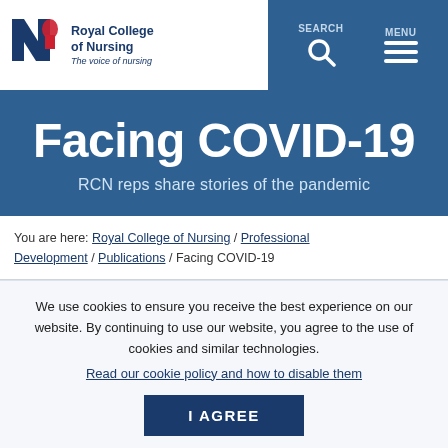[Figure (logo): Royal College of Nursing logo with stylised N and hand icons in blue and red, with text 'Royal College of Nursing – The voice of nursing']
SEARCH  MENU
Facing COVID-19
RCN reps share stories of the pandemic
You are here: Royal College of Nursing / Professional Development / Publications / Facing COVID-19
We use cookies to ensure you receive the best experience on our website. By continuing to use our website, you agree to the use of cookies and similar technologies.
Read our cookie policy and how to disable them
I AGREE